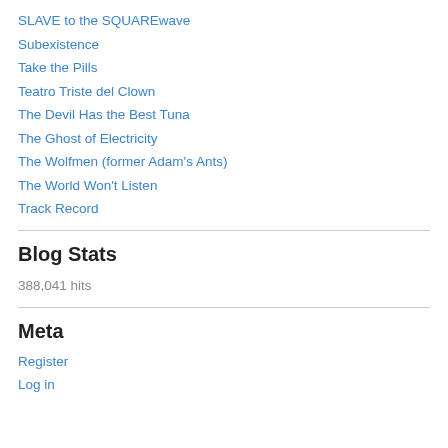SLAVE to the SQUAREwave
Subexistence
Take the Pills
Teatro Triste del Clown
The Devil Has the Best Tuna
The Ghost of Electricity
The Wolfmen (former Adam's Ants)
The World Won't Listen
Track Record
Blog Stats
388,041 hits
Meta
Register
Log in